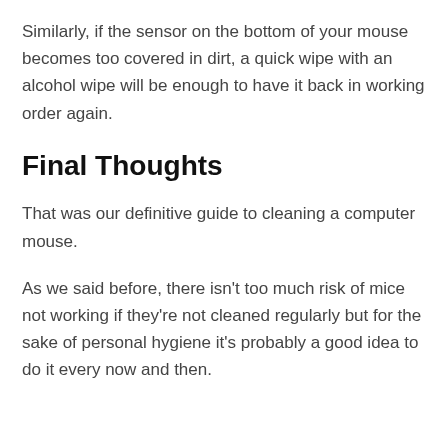Similarly, if the sensor on the bottom of your mouse becomes too covered in dirt, a quick wipe with an alcohol wipe will be enough to have it back in working order again.
Final Thoughts
That was our definitive guide to cleaning a computer mouse.
As we said before, there isn't too much risk of mice not working if they're not cleaned regularly but for the sake of personal hygiene it's probably a good idea to do it every now and then.